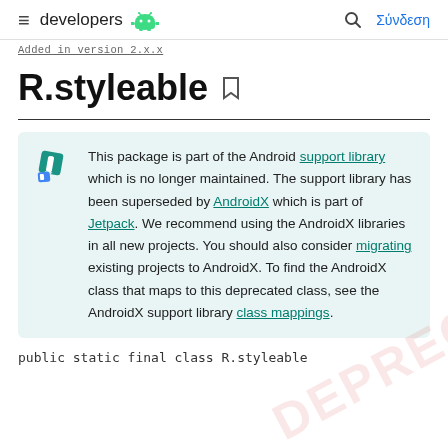≡ developers 🤖  🔍 Σύνδεση
Added in version 2.x.x
R.styleable
This package is part of the Android support library which is no longer maintained. The support library has been superseded by AndroidX which is part of Jetpack. We recommend using the AndroidX libraries in all new projects. You should also consider migrating existing projects to AndroidX. To find the AndroidX class that maps to this deprecated class, see the AndroidX support library class mappings.
public static final class R.styleable